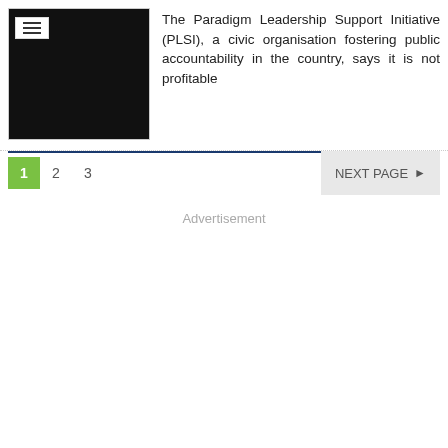[Figure (other): Thumbnail image with dark/black background and a white hamburger menu icon overlay in the top-left corner]
The Paradigm Leadership Support Initiative (PLSI), a civic organisation fostering public accountability in the country, says it is not profitable
1  2  3  NEXT PAGE ▶
Advertisement